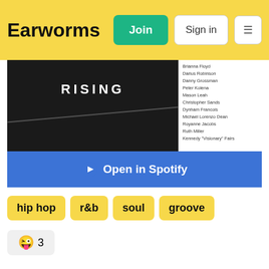Earworms   Join   Sign in   ☰
[Figure (photo): Dark/black album artwork with the word RISING in white bold capital letters with a diagonal white line, alongside a sidebar listing artist credits in small text]
Open in Spotify
hip hop
r&b
soul
groove
😜 3